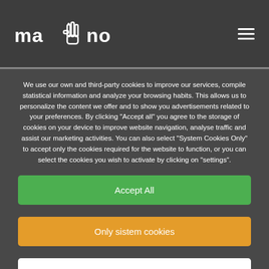[Figure (logo): Mano website logo with stylized hand icon between 'ma' and 'no' text in white on dark background, with hamburger menu icon on right]
We use our own and third-party cookies to improve our services, compile statistical information and analyze your browsing habits. This allows us to personalize the content we offer and to show you advertisements related to your preferences. By clicking "Accept all" you agree to the storage of cookies on your device to improve website navigation, analyse traffic and assist our marketing activities. You can also select "System Cookies Only" to accept only the cookies required for the website to function, or you can select the cookies you wish to activate by clicking on "settings".
Accept All
Only sistem cookies
Configuration